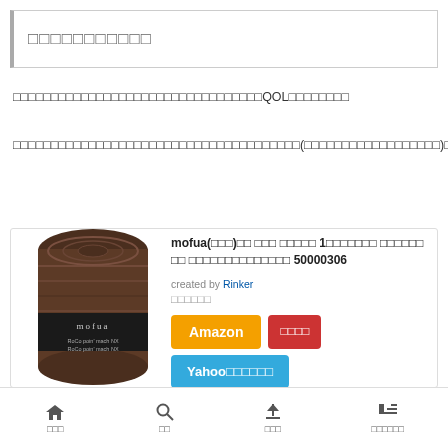□□□□□□□□□□□
□□□□□□□□□□□□□□□□□□□□□□□□□□□□□□□□□□QOL□□□□□□□□
□□□□□□□□□□□□□□□□□□□□□□□□□□□□□□□□□□□□□□(□□□□□□□□□□□□□□□□□□)□□□□□□□□□□□□□□□□□□□□
[Figure (photo): Brown rolled blanket with mofua label]
mofua(モフア)ぬ 掛け 毛布 グ 1□□□□□□□ □□□□□□ □□ □□□□□□□□□□□□□□ 50000306
created by Rinker
□□□□□□
Amazon  □□□□  Yahoo□□□□□□
□□□  □□  □□□  □□□□□□